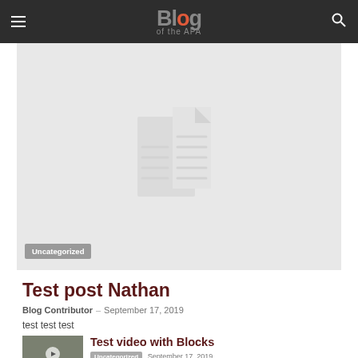Blog of the APA
[Figure (illustration): Document placeholder icon on light gray background with category tag 'Uncategorized']
Test post Nathan
Blog Contributor – September 17, 2019
test test test
Test video with Blocks
Uncategorized  September 17, 2019